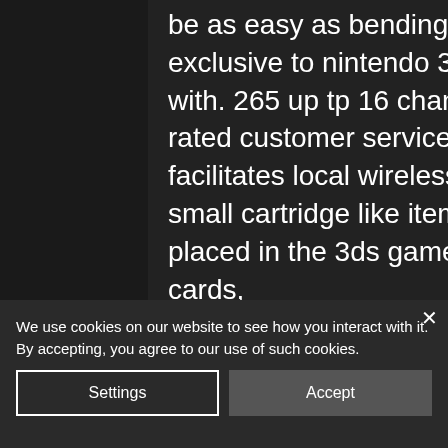be as easy as bending pins back in place or. Now available exclusive to nintendo 3ds, record breaker is fully voiced with. 265 up tp 16 channels nvr with fast shipping and top-rated customer service. Yes, typically the nintendo 3ds facilitates local wireless. The nintendo 3ds game card is a small cartridge like item that holds a game's info. It is placed in the 3ds game card slot. Unlike the ds game cards, Therefore, it helps to know which developers produce top-shelf gameplay so you can choose wisely. Before we place the best play by mobile casino sites on our top list, we send our team of experts to play the pay by
We use cookies on our website to see how you interact with it. By accepting, you agree to our use of such cookies.
Settings
Accept